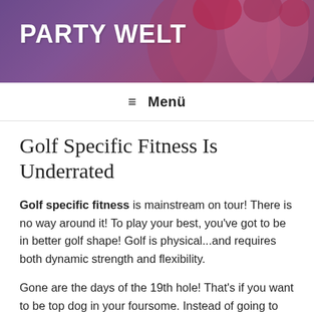[Figure (photo): Party Welt website header banner with people in party/festival attire, purple and pink tones]
PARTY WELT
≡ Menü
Golf Specific Fitness Is Underrated
Golf specific fitness is mainstream on tour! There is no way around it! To play your best, you've got to be in better golf shape! Golf is physical...and requires both dynamic strength and flexibility.
Gone are the days of the 19th hole! That's if you want to be top dog in your foursome. Instead of going to the 19th hole after your round, why not do some cool down stretches so you're ready for the next round?